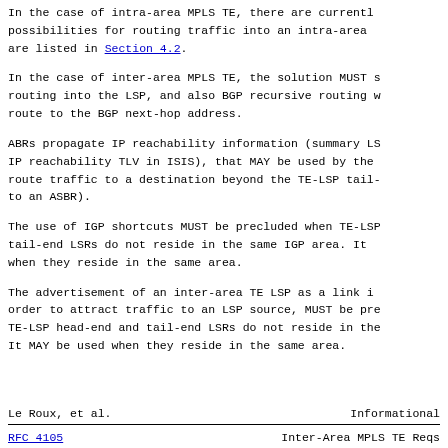In the case of intra-area MPLS TE, there are currently possibilities for routing traffic into an intra-area are listed in Section 4.2.
In the case of inter-area MPLS TE, the solution MUST s routing into the LSP, and also BGP recursive routing w route to the BGP next-hop address.
ABRs propagate IP reachability information (summary LS IP reachability TLV in ISIS), that MAY be used by the route traffic to a destination beyond the TE-LSP tail- to an ASBR).
The use of IGP shortcuts MUST be precluded when TE-LSP tail-end LSRs do not reside in the same IGP area. It when they reside in the same area.
The advertisement of an inter-area TE LSP as a link i order to attract traffic to an LSP source, MUST be pre TE-LSP head-end and tail-end LSRs do not reside in the It MAY be used when they reside in the same area.
Le Roux, et al.                Informational
RFC 4105              Inter-Area MPLS TE Reqs